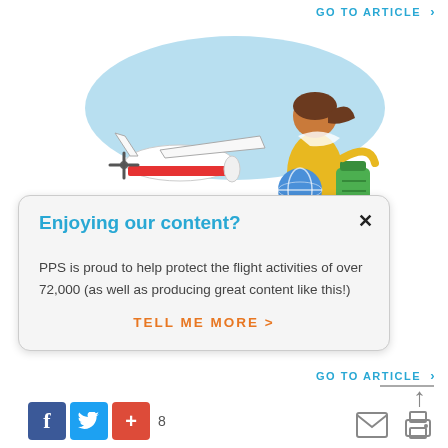GO TO ARTICLE >
[Figure (illustration): Cartoon illustration of a small red and white propeller plane with a woman in a yellow top holding a globe and green bag, set against a light blue oval background.]
Enjoying our content?
PPS is proud to help protect the flight activities of over 72,000 (as well as producing great content like this!)
TELL ME MORE >
GO TO ARTICLE >
[Figure (infographic): Social share buttons: Facebook, Twitter, Google+, count of 8, and print/email icons.]